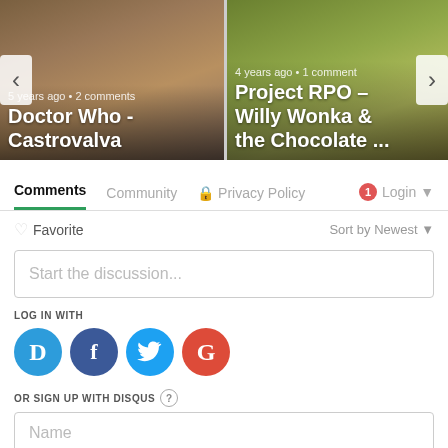[Figure (screenshot): Carousel with two content cards. Left card: '5 years ago • 2 comments' and title 'Doctor Who - Castrovalva'. Right card: '4 years ago • 1 comment' and title 'Project RPO – Willy Wonka & the Chocolate ...']
Comments	Community	🔒 Privacy Policy	1 Login
♡ Favorite	Sort by Newest
Start the discussion...
LOG IN WITH
[Figure (logo): Social login icons: Disqus (D), Facebook (f), Twitter bird, Google (G)]
OR SIGN UP WITH DISQUS ?
Name